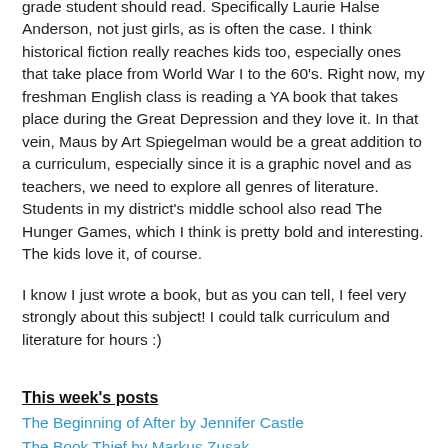grade student should read. Specifically Laurie Halse Anderson, not just girls, as is often the case. I think historical fiction really reaches kids too, especially ones that take place from World War I to the 60's. Right now, my freshman English class is reading a YA book that takes place during the Great Depression and they love it. In that vein, Maus by Art Spiegelman would be a great addition to a curriculum, especially since it is a graphic novel and as teachers, we need to explore all genres of literature. Students in my district's middle school also read The Hunger Games, which I think is pretty bold and interesting. The kids love it, of course.
I know I just wrote a book, but as you can tell, I feel very strongly about this subject! I could talk curriculum and literature for hours :)
This week's posts
The Beginning of After by Jennifer Castle
The Book Thief by Markus Zusak
The Future of Us by Jay Asher & Carolyn Mackler